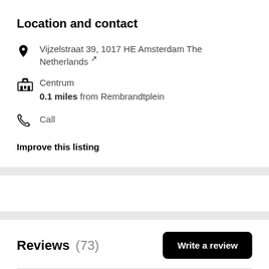Location and contact
Vijzelstraat 39, 1017 HE Amsterdam The Netherlands ↗
Centrum
0.1 miles from Rembrandtplein
Call
Improve this listing
Reviews (73)
Write a review
Traveler rating